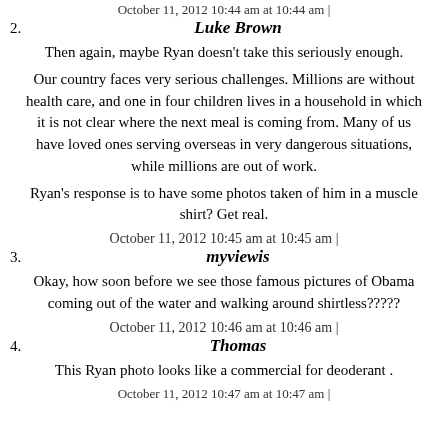October 11, 2012 10:44 am at 10:44 am |
2. Luke Brown
Then again, maybe Ryan doesn't take this seriously enough.
Our country faces very serious challenges. Millions are without health care, and one in four children lives in a household in which it is not clear where the next meal is coming from. Many of us have loved ones serving overseas in very dangerous situations, while millions are out of work.
Ryan's response is to have some photos taken of him in a muscle shirt? Get real.
October 11, 2012 10:45 am at 10:45 am |
3. myviewis
Okay, how soon before we see those famous pictures of Obama coming out of the water and walking around shirtless?????
October 11, 2012 10:46 am at 10:46 am |
4. Thomas
This Ryan photo looks like a commercial for deoderant .
October 11, 2012 10:47 am at 10:47 am |